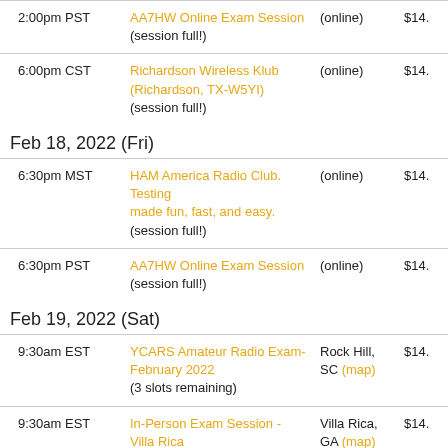| Time | Name | Location | Fee |
| --- | --- | --- | --- |
| 2:00pm PST | AA7HW Online Exam Session
(session full!) | (online) | $14. |
| 6:00pm CST | Richardson Wireless Klub (Richardson, TX-W5YI)
(session full!) | (online) | $14. |
Feb 18, 2022 (Fri)
| Time | Name | Location | Fee |
| --- | --- | --- | --- |
| 6:30pm MST | HAM America Radio Club. Testing made fun, fast, and easy.
(session full!) | (online) | $14. |
| 6:30pm PST | AA7HW Online Exam Session
(session full!) | (online) | $14. |
Feb 19, 2022 (Sat)
| Time | Name | Location | Fee |
| --- | --- | --- | --- |
| 9:30am EST | YCARS Amateur Radio Exam- February 2022
(3 slots remaining) | Rock Hill, SC (map) | $14. |
| 9:30am EST | In-Person Exam Session - Villa Rica Georgia Public Library
(3 slots remaining) | Villa Rica, GA (map) | $14. |
| 10:30am EST | YCARS Amateur Radio Exam- | Rock Hill, | $14. |